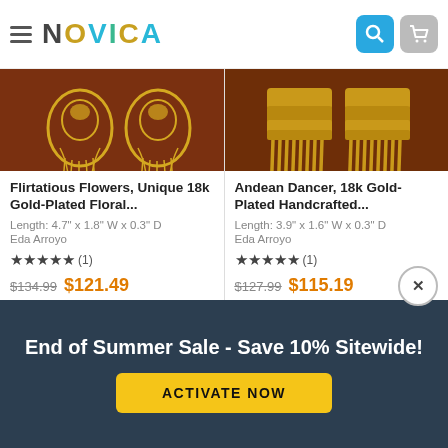NOVICA
[Figure (photo): Gold floral filigree earrings on brown background - left product]
Flirtatious Flowers, Unique 18k Gold-Plated Floral...
Length: 4.7" x 1.8" W x 0.3" D
Eda Arroyo
★★★★★ (1)
$134.99  $121.49
[Figure (photo): Gold Andean dancer comb-style earrings on brown background - right product]
Andean Dancer, 18k Gold-Plated Handcrafted...
Length: 3.9" x 1.6" W x 0.3" D
Eda Arroyo
★★★★★ (1)
$127.99  $115.19
End of Summer Sale - Save 10% Sitewide!
ACTIVATE NOW